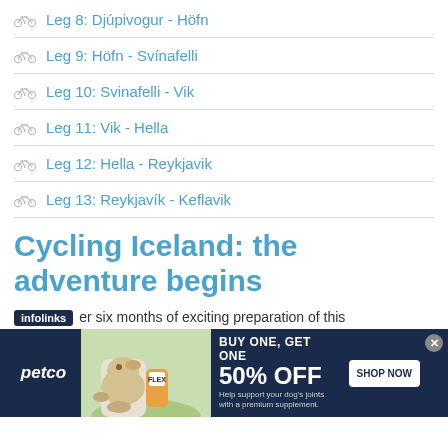Leg 8: Djúpivogur - Höfn
Leg 9: Höfn - Svínafelli
Leg 10: Svinafelli - Vik
Leg 11: Vik - Hella
Leg 12: Hella - Reykjavik
Leg 13: Reykjavík - Keflavik
Cycling Iceland: the adventure begins
er six months of exciting preparation of this
[Figure (screenshot): Petco advertisement banner: BUY ONE, GET ONE 50% OFF - Help support your dog's joints with a premium supplement. SHOP NOW button. Shows woman with yellow labrador dog and supplement bottle.]